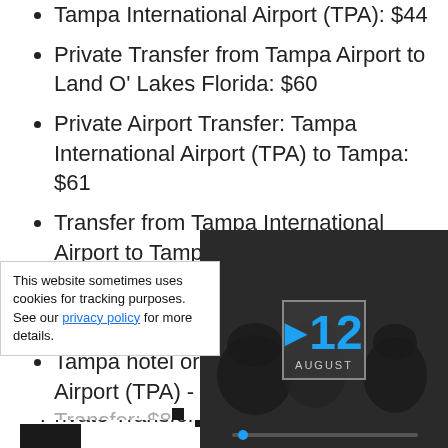Tampa International Airport (TPA): $44
Private Transfer from Tampa Airport to Land O' Lakes Florida: $60
Private Airport Transfer: Tampa International Airport (TPA) to Tampa: $61
Transfer from Tampa International Airport to Tampa: $75
Tampa Airport (TPA) to Tampa hotel or address - Arrival Private Transfer: $82
Tampa hotel or address to Tampa Airport (TPA) - Departure Private Transfer: $89 [partially obscured]
Tampa Airport (TPA) to Tampa hotel or address - Arrival... [partially obscured]
[Figure (screenshot): Video overlay showing 'THIS DAY IN HISTORY' with a thumbnail displaying the date 12 August, with video playback controls including mute icon and progress bar.]
This website sometimes uses cookies for tracking purposes. See our privacy policy for more details.
Private Transfer... [partially visible at bottom]